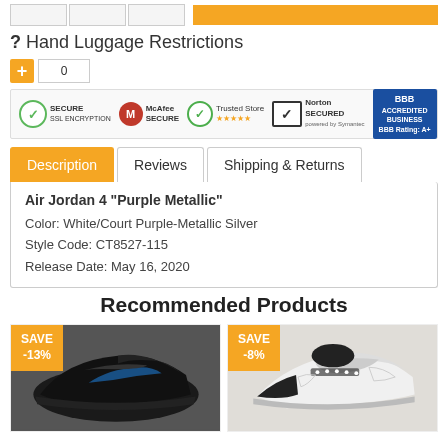[Figure (screenshot): Top navigation bar with two gray boxes and one orange bar button]
? Hand Luggage Restrictions
[Figure (screenshot): Plus button (orange) and quantity input showing 0]
[Figure (screenshot): Security badges: Secure SSL Encryption, McAfee Secure, Trusted Store, Norton Secured powered by Symantec, BBB Accredited Business BBB Rating: A+]
Description | Reviews | Shipping & Returns
Air Jordan 4 "Purple Metallic"
Color: White/Court Purple-Metallic Silver
Style Code: CT8527-115
Release Date: May 16, 2020
Recommended Products
[Figure (photo): Sneaker product card with SAVE -13% badge, dark sneaker image]
[Figure (photo): Sneaker product card with SAVE -8% badge, white/gray Air Jordan 4 sneaker image]